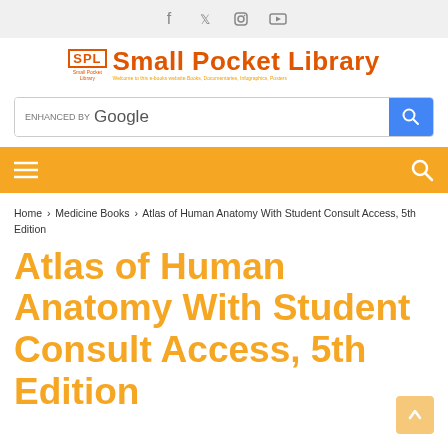[Figure (screenshot): Social media icons: Facebook, Twitter, Instagram, YouTube in gray top bar]
[Figure (logo): Small Pocket Library logo with SPL box and orange title text]
[Figure (screenshot): Google enhanced search bar with blue search button]
[Figure (screenshot): Orange navigation bar with hamburger menu icon and search icon]
Home > Medicine Books > Atlas of Human Anatomy With Student Consult Access, 5th Edition
Atlas of Human Anatomy With Student Consult Access, 5th Edition